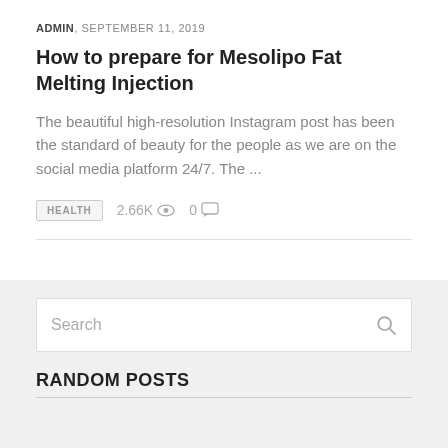ADMIN, SEPTEMBER 11, 2019
How to prepare for Mesolipo Fat Melting Injection
The beautiful high-resolution Instagram post has been the standard of beauty for the people as we are on the social media platform 24/7. The ...
HEALTH  2.66K  0
Search
RANDOM POSTS